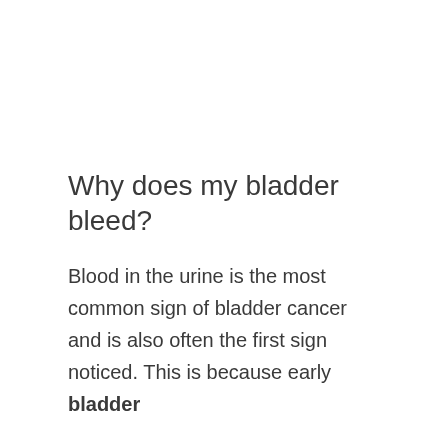Why does my bladder bleed?
Blood in the urine is the most common sign of bladder cancer and is also often the first sign noticed. This is because early bladder